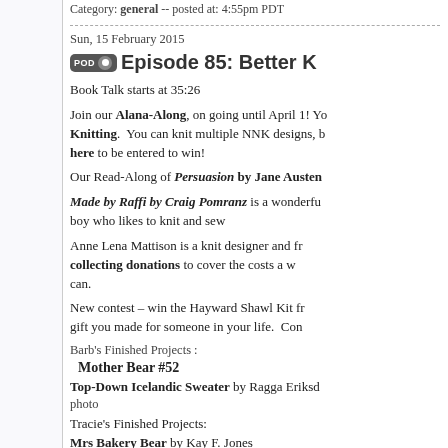Category: general -- posted at: 4:55pm PDT
Sun, 15 February 2015
Episode 85: Better K...
Book Talk starts at 35:26
Join our Alana-Along, on going until April 1! Yo... Knitting. You can knit multiple NNK designs, b... here to be entered to win!
Our Read-Along of Persuasion by Jane Austen...
Made by Raffi by Craig Pomranz is a wonderfu... boy who likes to knit and sew
Anne Lena Mattison is a knit designer and fr... collecting donations to cover the costs a w... can.
New contest – win the Hayward Shawl Kit fr... gift you made for someone in your life. Con...
Barb's Finished Projects :
Mother Bear #52
Top-Down Icelandic Sweater by Ragga Eriksd...
photo
Tracie's Finished Projects:
Mrs Bakery Bear by Kay F. Jones
photo